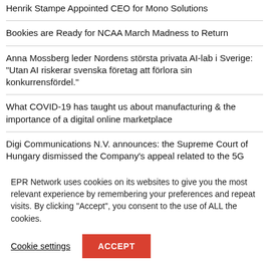Henrik Stampe Appointed CEO for Mono Solutions
Bookies are Ready for NCAA March Madness to Return
Anna Mossberg leder Nordens största privata AI-lab i Sverige: "Utan AI riskerar svenska företag att förlora sin konkurrensfördel."
What COVID-19 has taught us about manufacturing & the importance of a digital online marketplace
Digi Communications N.V. announces: the Supreme Court of Hungary dismissed the Company's appeal related to the 5G Tender procedure
EPR Network uses cookies on its websites to give you the most relevant experience by remembering your preferences and repeat visits. By clicking "Accept", you consent to the use of ALL the cookies.
Cookie settings
ACCEPT